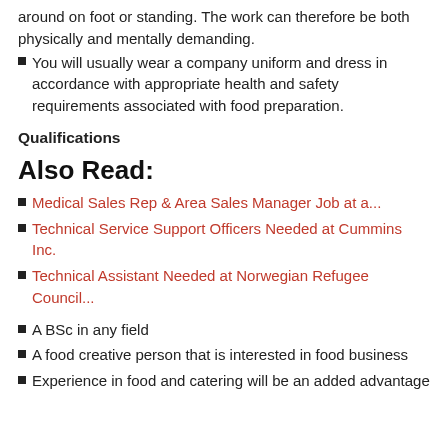around on foot or standing. The work can therefore be both physically and mentally demanding.
You will usually wear a company uniform and dress in accordance with appropriate health and safety requirements associated with food preparation.
Qualifications
Also Read:
Medical Sales Rep & Area Sales Manager Job at a...
Technical Service Support Officers Needed at Cummins Inc.
Technical Assistant Needed at Norwegian Refugee Council...
A BSc in any field
A food creative person that is interested in food business
Experience in food and catering will be an added advantage